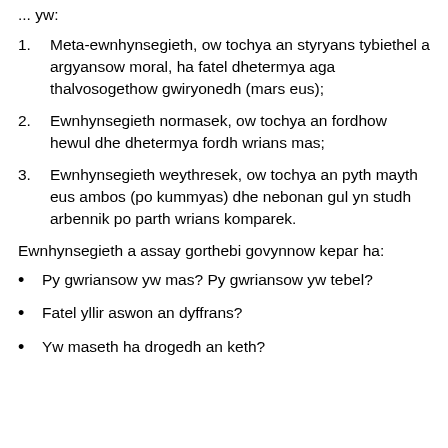... yw:
Meta-ewnhynsegieth, ow tochya an styryans tybiethel a argyansow moral, ha fatel dhetermya aga thalvosogethow gwiryonedh (mars eus);
Ewnhynsegieth normasek, ow tochya an fordhow hewul dhe dhetermya fordh wrians mas;
Ewnhynsegieth weythresek, ow tochya an pyth mayth eus ambos (po kummyas) dhe nebonan gul yn studh arbennik po parth wrians komparek.
Ewnhynsegieth a assay gorthebi govynnow kepar ha:
Py gwriansow yw mas? Py gwriansow yw tebel?
Fatel yllir aswon an dyffrans?
Yw maseth ha drogedh an keth?